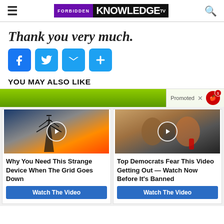FORBIDDEN KNOWLEDGE TV
Thank you very much.
[Figure (other): Social share buttons: Facebook, Twitter, Email, More (+)]
YOU MAY ALSO LIKE
[Figure (other): Promoted content bar with green background and Promoted label with X close button and apple notification icon]
[Figure (other): Two video cards: 'Why You Need This Strange Device When The Grid Goes Down' with Watch The Video button, and 'Top Democrats Fear This Video Getting Out — Watch Now Before It's Banned' with Watch The Video button]